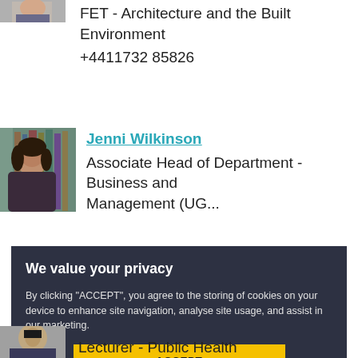FET - Architecture and the Built Environment
+4411732 85826
[Figure (photo): Profile photo of Jenni Wilkinson in front of bookshelves]
Jenni Wilkinson
Associate Head of Department - Business and Management (UG...)
We value your privacy

By clicking "ACCEPT", you agree to the storing of cookies on your device to enhance site navigation, analyse site usage, and assist in our marketing.

ACCEPT

VIEW COOKIE SETTINGS
[Figure (photo): Partial profile photo at bottom of page]
Lecturer - Public Health